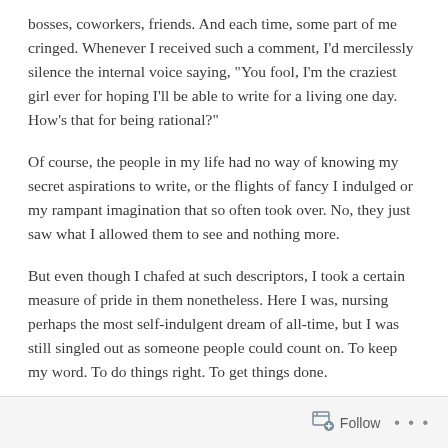bosses, coworkers, friends. And each time, some part of me cringed. Whenever I received such a comment, I'd mercilessly silence the internal voice saying, “You fool, I’m the craziest girl ever for hoping I’ll be able to write for a living one day. How’s that for being rational?”
Of course, the people in my life had no way of knowing my secret aspirations to write, or the flights of fancy I indulged or my rampant imagination that so often took over. No, they just saw what I allowed them to see and nothing more.
But even though I chafed at such descriptors, I took a certain measure of pride in them nonetheless. Here I was, nursing perhaps the most self-indulgent dream of all-time, but I was still singled out as someone people could count on. To keep my word. To do things right. To get things done.
Follow ...